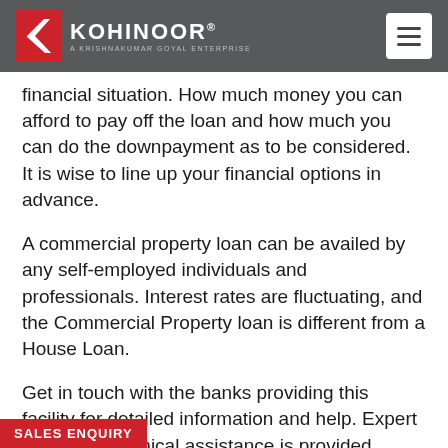KOHINOOR® — A KRISHNAKUMAR GOYAL ENTERPRISE
financial situation. How much money you can afford to pay off the loan and how much you can do the downpayment as to be considered. It is wise to line up your financial options in advance.
A commercial property loan can be availed by any self-employed individuals and professionals. Interest rates are fluctuating, and the Commercial Property loan is different from a House Loan.
Get in touch with the banks providing this facility for detailed information and help. Expert legal and technical assistance is provided, which also eases the hassle-free documentation process. Monthly instalments are done in a flexible tenure period by sure you compare interest rates and
SALES ENQUIRY